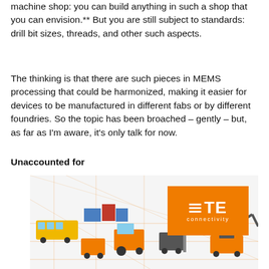machine shop: you can build anything in such a shop that you can envision.** But you are still subject to standards: drill bit sizes, threads, and other such aspects.
The thinking is that there are such pieces in MEMS processing that could be harmonized, making it easier for devices to be manufactured in different fabs or by different foundries. So the topic has been broached – gently – but, as far as I'm aware, it's only talk for now.
Unaccounted for
[Figure (illustration): TE Connectivity advertisement showing various construction and transport vehicles (buses, excavators, tractors, forklifts, construction equipment) arranged on an isometric grid with orange connecting lines. Features the TE Connectivity logo in an orange box in the upper right.]